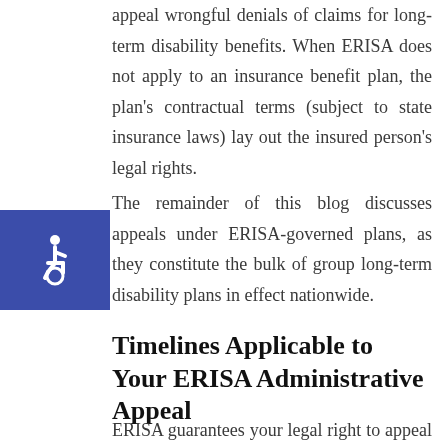appeal wrongful denials of claims for long-term disability benefits. When ERISA does not apply to an insurance benefit plan, the plan's contractual terms (subject to state insurance laws) lay out the insured person's legal rights.
[Figure (illustration): Accessibility icon — white wheelchair symbol on blue square background]
The remainder of this blog discusses appeals under ERISA-governed plans, as they constitute the bulk of group long-term disability plans in effect nationwide.
Timelines Applicable to Your ERISA Administrative Appeal
ERISA guarantees your legal right to appeal a